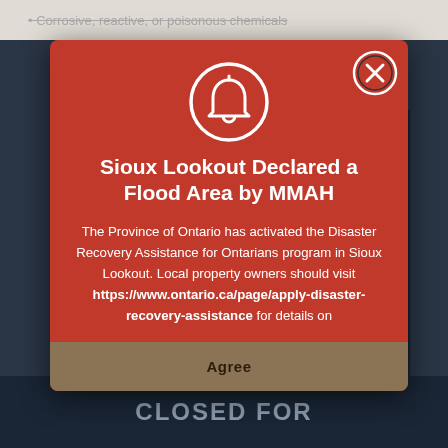Corrosive, reactive, or poisonous chemicals
[Figure (screenshot): A red modal/popup dialog on a dark background. It contains a white bell icon in a circle at the top center, a close X button at top right, a bold white title 'Sioux Lookout Declared a Flood Area by MMAH', body text describing the Province of Ontario activating Disaster Recovery Assistance for Ontarians program in Sioux Lookout with a URL, and an 'Agree' button at the bottom.]
Sioux Lookout Declared a Flood Area by MMAH
The Province of Ontario has activated the Disaster Recovery Assistance for Ontarians program in Sioux Lookout. Local property owners should visit https://www.ontario.ca/page/apply-disaster-recovery-assistance for details on
Agree
CLOSED FOR